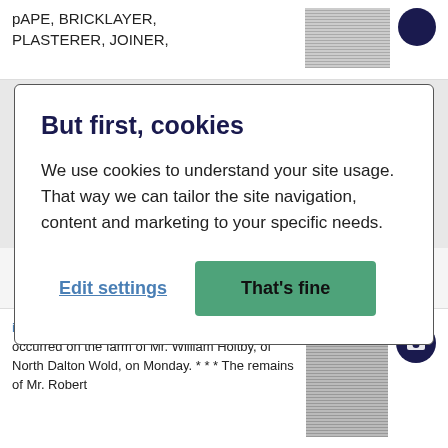pAPE, BRICKLAYER, PLASTERER, JOINER,
But first, cookies
We use cookies to understand your site usage. That way we can tailor the site navigation, content and marketing to your specific needs.
Edit settings | That's fine
09 June 1894 - Beverley Independe…
iistriti lotus. "… An outbreak of swine fever occurred on the farm of Mr. William Holtby, of North Dalton Wold, on Monday. * * * The remains of Mr. Robert